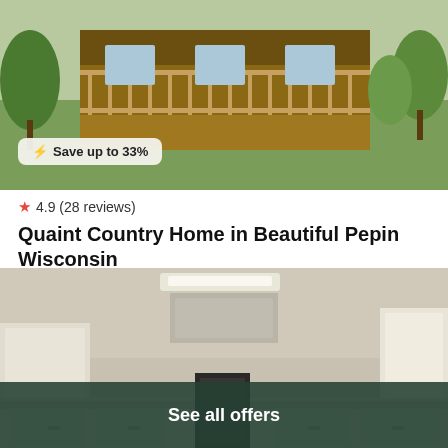[Figure (photo): Exterior photo of a wooden country house with a covered porch and railing, surrounded by green lawn and trees with a 'Save up to 33%' badge overlay]
4.9 (28 reviews)
Quaint Country Home in Beautiful Pepin Wisconsin
House · 10 Guests · 3 Bedrooms
$150 /night*
[Figure (logo): Vrbo logo in blue italic text]
View deal
[Figure (photo): Interior photo of a kitchen/utility room with white cabinets and overhead fluorescent lighting]
See all offers